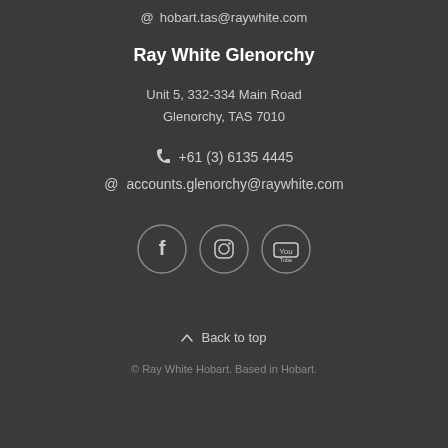@ hobart.tas@raywhite.com
Ray White Glenorchy
Unit 5, 332-334 Main Road
Glenorchy, TAS 7010
+61 (3) 6135 4445
@ accounts.glenorchy@raywhite.com
[Figure (illustration): Three social media icon circles: Facebook, Instagram, YouTube]
Back to top
© Ray White Hobart. Based in Hobart.